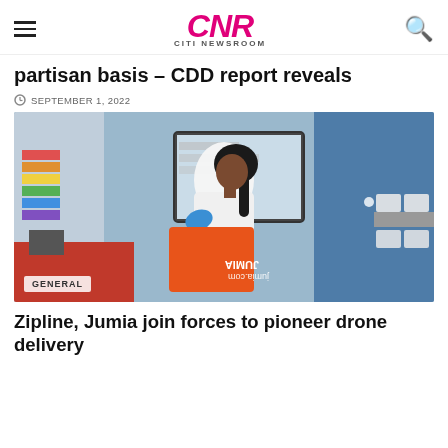≡  CNR CITI NEWSROOM  🔍
partisan basis – CDD report reveals
SEPTEMBER 1, 2022
[Figure (photo): A woman in a white lab coat and blue gloves handles an orange Jumia delivery package in an office/lab setting, with a blue partition and computer monitor visible in the background.]
GENERAL
Zipline, Jumia join forces to pioneer drone delivery